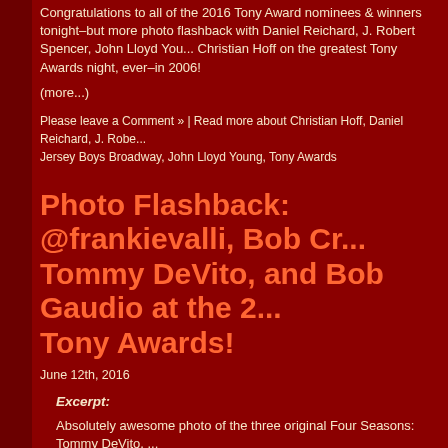Congratulations to all of the 2016 Tony Award nominees & winners tonight–but more photo flashback with Daniel Reichard, J. Robert Spencer, John Lloyd You... Christian Hoff on the greatest Tony Awards night, ever–in 2006!
(more...)
Please leave a Comment » | Read more about Christian Hoff, Daniel Reichard, J. Robe... Jersey Boys Broadway, John Lloyd Young, Tony Awards
Photo Flashback: @frankievalli, Bob Cr... Tommy DeVito, and Bob Gaudio at the 2... Tony Awards!
June 12th, 2016
Excerpt:
Absolutely awesome photo of the three original Four Seasons: Tommy DeVito, ... and Frankie Valli with their producer Bob Crewe!
(more...)
Please leave a Comment » | Read more about Bob Crewe, Bob Gaudio, Frankie Valli, T...
Photo Coverage: Jersey Boys on 2015 To... Awards #OhWhatANight!